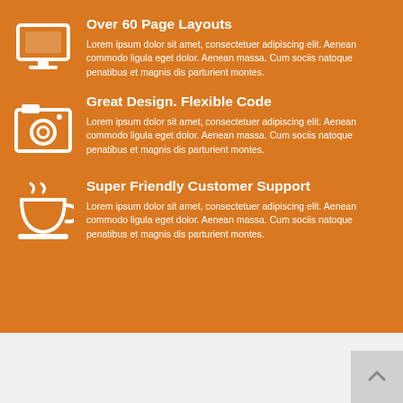Over 60 Page Layouts
Lorem ipsum dolor sit amet, consectetuer adipiscing elit. Aenean commodo ligula eget dolor. Aenean massa. Cum sociis natoque penatibus et magnis dis parturient montes.
Great Design. Flexible Code
Lorem ipsum dolor sit amet, consectetuer adipiscing elit. Aenean commodo ligula eget dolor. Aenean massa. Cum sociis natoque penatibus et magnis dis parturient montes.
Super Friendly Customer Support
Lorem ipsum dolor sit amet, consectetuer adipiscing elit. Aenean commodo ligula eget dolor. Aenean massa. Cum sociis natoque penatibus et magnis dis parturient montes.